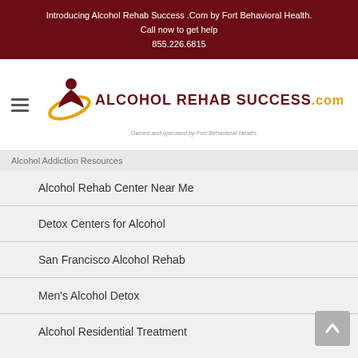Introducing Alcohol Rehab Success .Com by Fort Behavioral Health.
Call now to get help
855.226.6815
[Figure (logo): Alcohol Rehab Success .com logo with stylized figure and ellipse, owned and operated by Fort Behavioral Health]
Alcohol Addiction Resources
Alcohol Rehab Center Near Me
Detox Centers for Alcohol
San Francisco Alcohol Rehab
Men's Alcohol Detox
Alcohol Residential Treatment